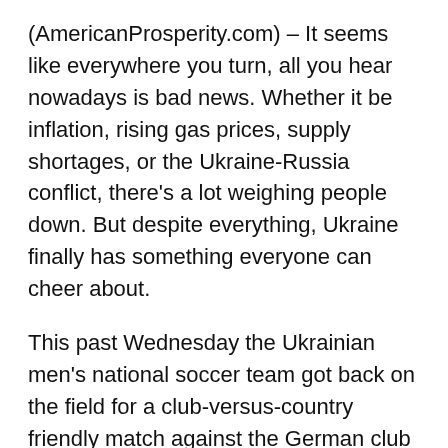(AmericanProsperity.com) – It seems like everywhere you turn, all you hear nowadays is bad news. Whether it be inflation, rising gas prices, supply shortages, or the Ukraine-Russia conflict, there's a lot weighing people down. But despite everything, Ukraine finally has something everyone can cheer about.
This past Wednesday the Ukrainian men's national soccer team got back on the field for a club-versus-country friendly match against the German club Borussia Mönchengladbach.
The Ukrainian men's national team has